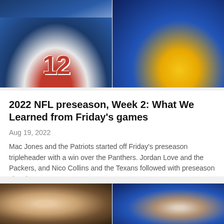[Figure (photo): Two NFL players celebrating. Left: Houston Texans player wearing jersey number 12 in white uniform. Right: Los Angeles Rams player in blue and yellow uniform raising hand.]
2022 NFL preseason, Week 2: What We Learned from Friday's games
Aug 19, 2022
Mac Jones and the Patriots started off Friday's preseason tripleheader with a win over the Panthers. Jordan Love and the Packers, and Nico Collins and the Texans followed with preseason victories.
[Figure (photo): Two photos side by side showing men in suits, appearing to be NFL coaches or executives at a media event or press conference.]